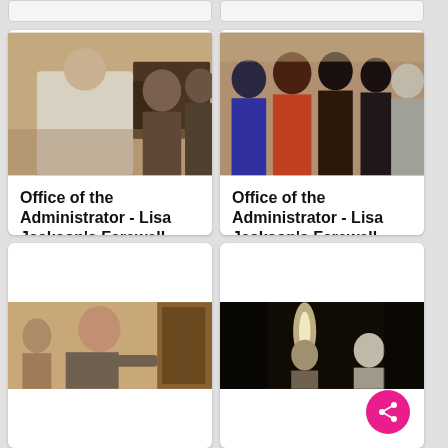[Figure (screenshot): Top portion of two video thumbnail cards partially visible at top of screen, grey background]
[Figure (photo): Video thumbnail: indoor group scene, person with back to camera in white jacket, others in background, warm indoor lighting]
Office of the Administrator - Lisa Jackson's Farewell Tour [412-APD-11...
Office of the Administrator - Lisa Jackson's Farewell Tour
[Figure (photo): Video thumbnail: group of people standing indoors, colorful clothing, woman in grey jacket on right side]
Office of the Administrator - Lisa Jackson's Farewell Tour [412-APD-11...
Office of the Administrator - Lisa Jackson's Farewell Tour
[Figure (photo): Bottom left video thumbnail: man in profile view, indoor setting]
[Figure (photo): Bottom right video thumbnail: dark indoor scene, pink share button overlay]